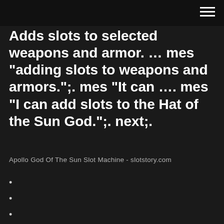Adds slots to selected weapons and armor. … mes "adding slots to weapons and armors.";. mes "It can …. mes "I can add slots to the Hat of the Sun God.";. next;.
Apollo God Of The Sun Slot Machine - slotstory.com
Wie funktioniert poker im casino
How to always win online slots